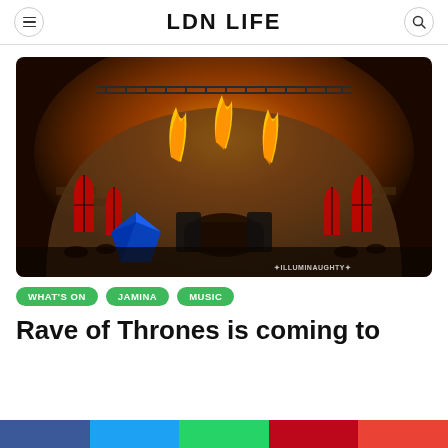LDN LIFE
[Figure (photo): A castle-like stage venue with orange fire effects and red stained-glass windows, DJ setup visible, with blue geometric sculpture on stage left. Watermark reads *ILLUMINAUGHTY*]
WHAT'S ON
JAMINA
MUSIC
Rave of Thrones is coming to